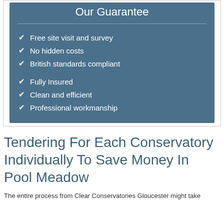Our Guarantee
Free site visit and survey
No hidden costs
British standards compliant
Fully Insured
Clean and efficient
Professional workmanship
Tendering For Each Conservatory Individually To Save Money In Pool Meadow
The entire process from Clear Conservatories Gloucester might take